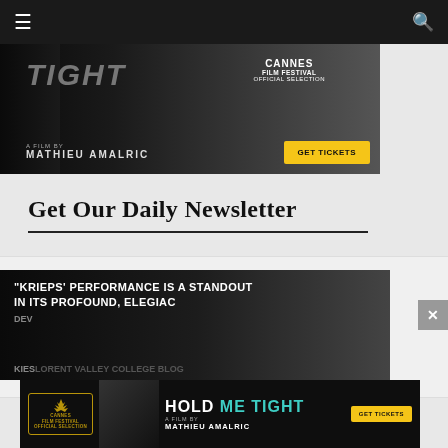Navigation bar with hamburger menu and search icon
[Figure (photo): Movie advertisement banner for 'Hold Me Tight', a film by Mathieu Amalric. Cannes Film Festival Official Selection. GET TICKETS button shown.]
Get Our Daily Newsletter
email address
Subscribe
[Figure (photo): Movie advertisement showing review quote: 'KRIEPS' PERFORMANCE IS A STANDOUT IN ITS PROFOUND, ELEGIAC DEV... KIES... FILM BY MATHIEU AMALRIC. GET TICKETS. Cannes Film Festival Official Selection badge visible.]
[Figure (infographic): Floating bottom banner ad for 'Hold Me Tight' film by Mathieu Amalric with Cannes logo, teal text, and GET TICKETS button. Close X button in top right corner.]